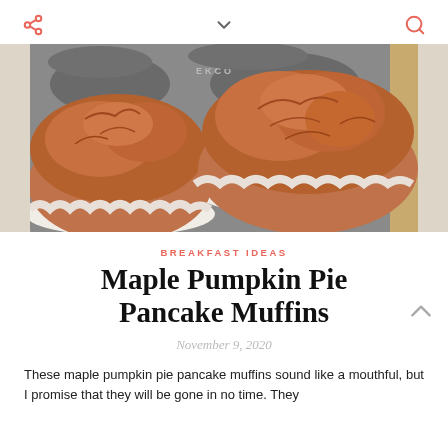share / chevron / search icons
[Figure (photo): Overhead view of pumpkin muffins in paper liners in a metal muffin tin, golden-brown domed tops with cracked texture, on a white cloth background with a wooden board visible at the edge.]
BREAKFAST IDEAS
Maple Pumpkin Pie Pancake Muffins
November 9, 2020
These maple pumpkin pie pancake muffins sound like a mouthful, but I promise that they will be gone in no time. They